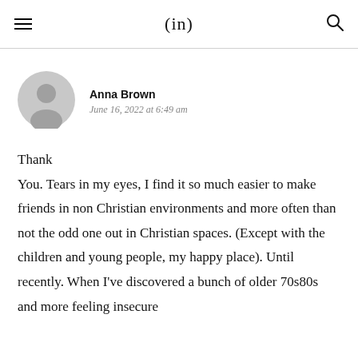(in)
Anna Brown
June 16, 2022 at 6:49 am
Thank You. Tears in my eyes, I find it so much easier to make friends in non Christian environments and more often than not the odd one out in Christian spaces. (Except with the children and young people, my happy place). Until recently. When I've discovered a bunch of older 70s80s and more feeling insecure